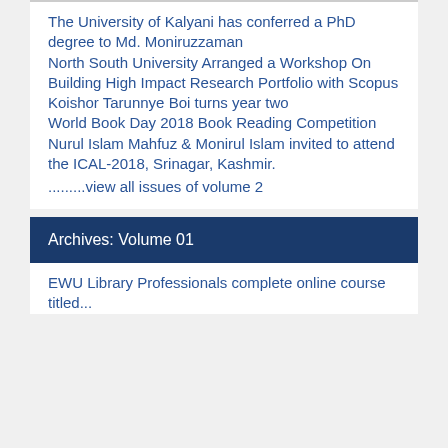The University of Kalyani has conferred a PhD degree to Md. Moniruzzaman
North South University Arranged a Workshop On Building High Impact Research Portfolio with Scopus
Koishor Tarunnye Boi turns year two
World Book Day 2018 Book Reading Competition
Nurul Islam Mahfuz & Monirul Islam invited to attend the ICAL-2018, Srinagar, Kashmir.
..........view all issues of volume 2
Archives: Volume 01
EWU Library Professionals complete online course titled "Research Writing in the Social Sciences"